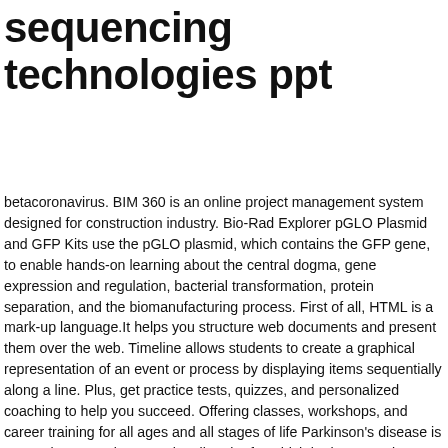sequencing technologies ppt
betacoronavirus. BIM 360 is an online project management system designed for construction industry. Bio-Rad Explorer pGLO Plasmid and GFP Kits use the pGLO plasmid, which contains the GFP gene, to enable hands-on learning about the central dogma, gene expression and regulation, bacterial transformation, protein separation, and the biomanufacturing process. First of all, HTML is a mark-up language.It helps you structure web documents and present them over the web. Timeline allows students to create a graphical representation of an event or process by displaying items sequentially along a line. Plus, get practice tests, quizzes, and personalized coaching to help you succeed. Offering classes, workshops, and career training for all ages and all stages of life Parkinson's disease is a complex neurodegenerative disorder for which both rare and common genetic variants contribute to disease risk, onset, and progression. This study describes the generation of a doxycycline-inducible CRISPRi embryonic stem cell line and knock-in mouse model that together provide versatile and convenient platforms for functional interrogation and high-throughput